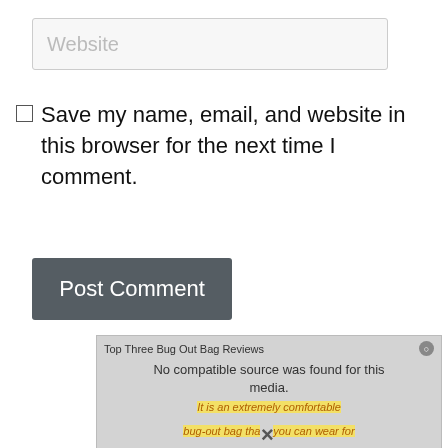Website
Save my name, email, and website in this browser for the next time I comment.
Post Comment
[Figure (screenshot): Video player overlay showing 'Top Three Bug Out Bag Reviews' title with close button, 'No compatible source was found for this media.' message, and highlighted italic text 'It is an extremely comfortable bug-out bag that you can wear for long periods.' with an X dismiss button overlay.]